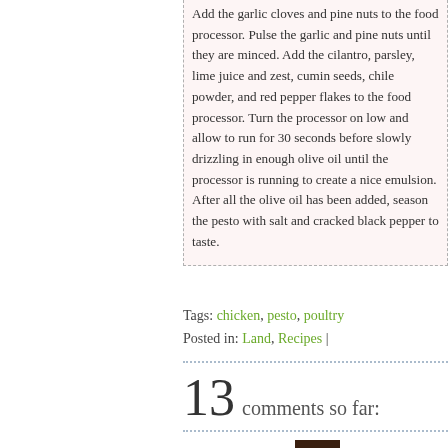Add the garlic cloves and pine nuts to the food processor. Pulse the garlic and pine nuts until they are minced. Add the cilantro, parsley, lime juice and zest, cumin seeds, chile powder, and red pepper flakes to the food processor. Turn the processor on low and allow to run for 30 seconds before slowly drizzling in enough olive oil until the processor is running to create a nice emulsion. After all the olive oil has been added, season the pesto with salt and cracked black pepper to taste.
Tags: chicken, pesto, poultry
Posted in: Land, Recipes |
13 comments so far:
Nicole says: